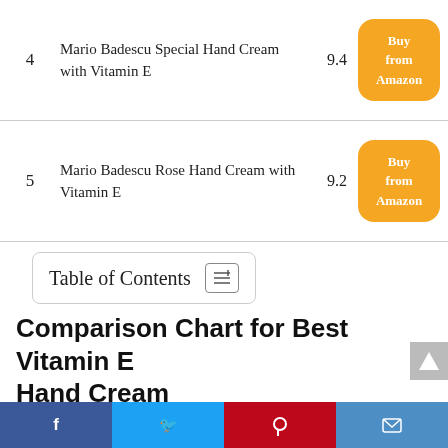| # | Product | Score |  |
| --- | --- | --- | --- |
| 4 | Mario Badescu Special Hand Cream with Vitamin E | 9.4 | Buy from Amazon |
| 5 | Mario Badescu Rose Hand Cream with Vitamin E | 9.2 | Buy from Amazon |
Table of Contents
Comparison Chart for Best Vitamin E Hand Cream
Our team scanned 55163 reviews before putting any suggestions for the Vitamin E Hand Cream in this